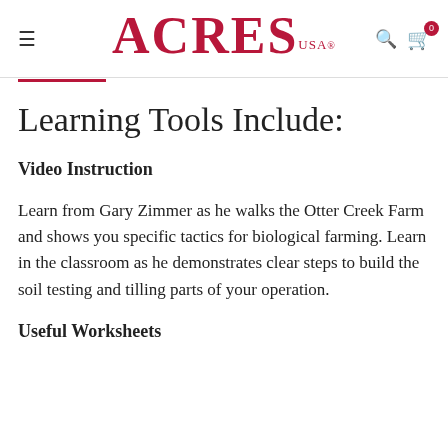ACRES USA
Learning Tools Include:
Video Instruction
Learn from Gary Zimmer as he walks the Otter Creek Farm and shows you specific tactics for biological farming. Learn in the classroom as he demonstrates clear steps to build the soil testing and tilling parts of your operation.
Useful Worksheets